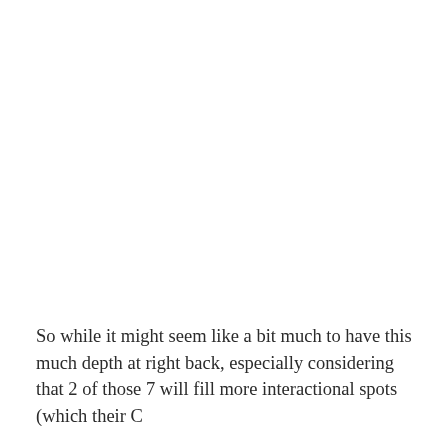So while it might seem like a bit much to have this much depth at right back, especially considering that 2 of those 7 will fill more interactional spots (which their C...